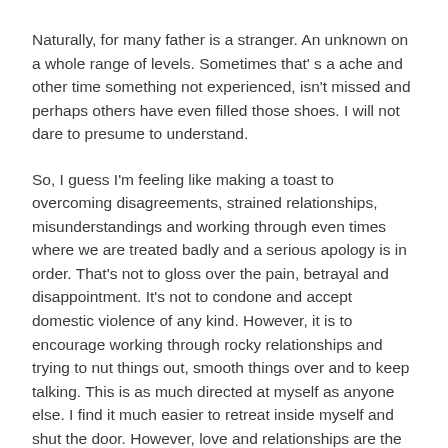Naturally, for many father is a stranger. An unknown on a whole range of levels. Sometimes that's a ache and other time something not experienced, isn't missed and perhaps others have even filled those shoes. I will not dare to presume to understand.
So, I guess I'm feeling like making a toast to overcoming disagreements, strained relationships, misunderstandings and working through even times where we are treated badly and a serious apology is in order. That's not to gloss over the pain, betrayal and disappointment. It's not to condone and accept domestic violence of any kind. However, it is to encourage working through rocky relationships and trying to nut things out, smooth things over and to keep talking. This is as much directed at myself as anyone else. I find it much easier to retreat inside myself and shut the door. However, love and relationships are the most important things to me and it's ultimately detrimental to do that. The only way